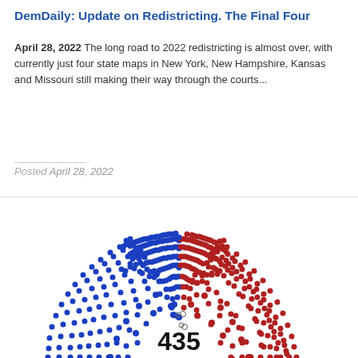DemDaily: Update on Redistricting. The Final Four
April 28, 2022  The long road to 2022 redistricting is almost over, with currently just four state maps in New York, New Hampshire, Kansas and Missouri still making their way through the courts...
Posted April 28, 2022
[Figure (infographic): Semicircular parliament-style seating chart showing 435 House seats distributed between blue (Democratic) and red (Republican) dots arranged in arcing rows, with the number 435 displayed in the center bottom. Two small open circles mark the center dividing line between parties.]